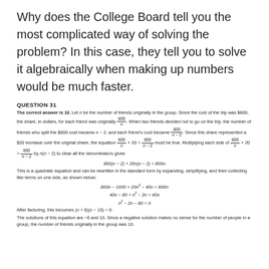Why does the College Board tell you the most complicated way of solving the problem? In this case, they tell you to solve it algebraically when making up numbers would be much faster.
QUESTION 31
The correct answer is 10. Let n be the number of friends originally in the group. Since the cost of the trip was $800, the share, in dollars, for each friend was originally 800/n. When two friends decided not to go on the trip, the number of friends who split the $800 cost became n − 2, and each friend's cost became 800/(n−2). Since this share represented a $20 increase over the original share, the equation 800/n + 20 = 800/(n−2) must be true. Multiplying each side of 800/n + 20 = 800/(n−2) by n(n − 2) to clear all the denominators gives
This is a quadratic equation and can be rewritten in the standard form by expanding, simplifying, and then collecting like terms on one side, as shown below:
After factoring, this becomes (n + 8)(n − 10) = 0.
The solutions of this equation are −8 and 10. Since a negative solution makes no sense for the number of people in a group, the number of friends originally in the group was 10.